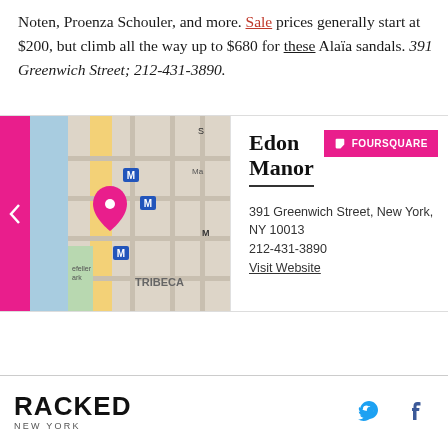Noten, Proenza Schouler, and more. Sale prices generally start at $200, but climb all the way up to $680 for these Alaïa sandals. 391 Greenwich Street; 212-431-3890.
[Figure (map): Interactive map card showing Edon Manor location in Tribeca, New York. Map shows Greenwich Street area with pink location pin, subway M markers. Right panel shows venue name, Foursquare button, address: 391 Greenwich Street, New York, NY 10013, phone: 212-431-3890, and Visit Website link. Pink navigation arrows on left and right sides.]
RACKED NEW YORK [Twitter icon] [Facebook icon]